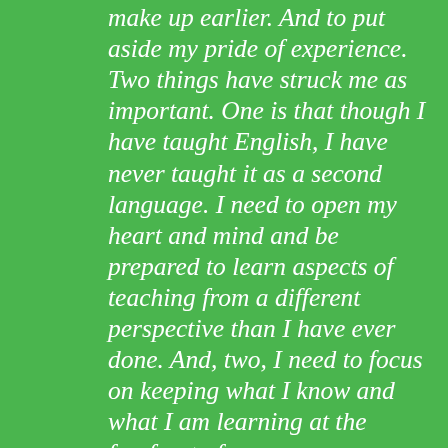make up earlier. And to put aside my pride of experience. Two things have struck me as important. One is that though I have taught English, I have never taught it as a second language. I need to open my heart and mind and be prepared to learn aspects of teaching from a different perspective than I have ever done. And, two, I need to focus on keeping what I know and what I am learning at the forefront of my awareness. Much of what I know is filed away somewhere in the back of my brain because I don't think about those things (even if I use them) on a regular basis. (Sentence structure is an example. I do not usually give direct thought to sentence structure on a daily basis; but the information is filed away and I USE it daily.) As I accumulate new information